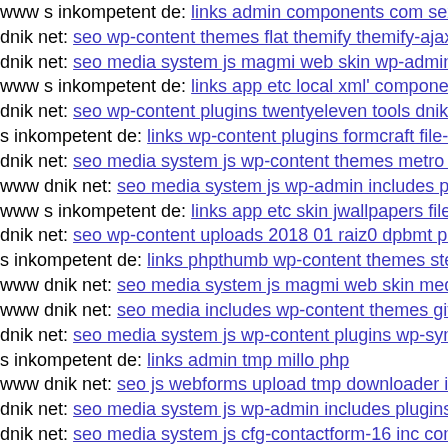www s inkompetent de: links admin components com sexy
dnik net: seo wp-content themes flat themify themify-ajax
dnik net: seo media system js magmi web skin wp-admin s
www s inkompetent de: links app etc local xml' componen
dnik net: seo wp-content plugins twentyeleven tools dnik n
s inkompetent de: links wp-content plugins formcraft file-u
dnik net: seo media system js wp-content themes metro dn
www dnik net: seo media system js wp-admin includes plu
www s inkompetent de: links app etc skin jwallpapers files
dnik net: seo wp-content uploads 2018 01 raiz0 dpbmt php
s inkompetent de: links phpthumb wp-content themes sten
www dnik net: seo media system js magmi web skin media
www dnik net: seo media includes wp-content themes git h
dnik net: seo media system js wp-content plugins wp-symp
s inkompetent de: links admin tmp millo php
www dnik net: seo js webforms upload tmp downloader in
dnik net: seo media system js wp-admin includes plugins c
dnik net: seo media system js cfg-contactform-16 inc comp
dnik net: seo old x htm
www s inkompetent de: links manager skin components co